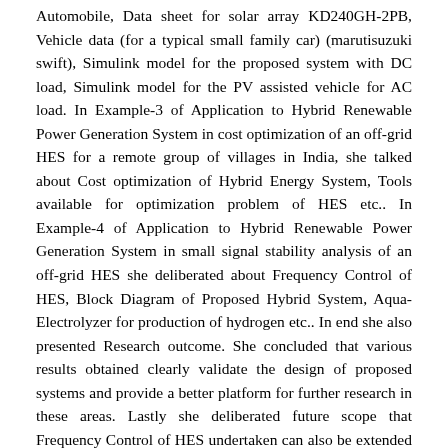Automobile, Data sheet for solar array KD240GH-2PB, Vehicle data (for a typical small family car) (marutisuzuki swift), Simulink model for the proposed system with DC load, Simulink model for the PV assisted vehicle for AC load. In Example-3 of Application to Hybrid Renewable Power Generation System in cost optimization of an off-grid HES for a remote group of villages in India, she talked about Cost optimization of Hybrid Energy System, Tools available for optimization problem of HES etc.. In Example-4 of Application to Hybrid Renewable Power Generation System in small signal stability analysis of an off-grid HES she deliberated about Frequency Control of HES, Block Diagram of Proposed Hybrid System, Aqua-Electrolyzer for production of hydrogen etc.. In end she also presented Research outcome. She concluded that various results obtained clearly validate the design of proposed systems and provide a better platform for further research in these areas. Lastly she deliberated future scope that Frequency Control of HES undertaken can also be extended for grid connected systems,